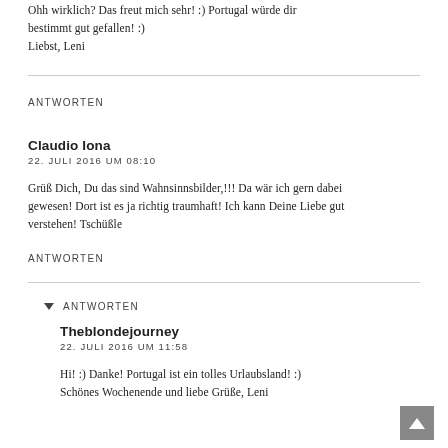Ohh wirklich? Das freut mich sehr! :) Portugal würde dir bestimmt gut gefallen! :)
Liebst, Leni
ANTWORTEN
Claudio Iona
22. JULI 2016 UM 08:10
Grüß Dich, Du das sind Wahnsinnsbilder,!!! Da wär ich gern dabei gewesen! Dort ist es ja richtig traumhaft! Ich kann Deine Liebe gut verstehen! Tschüßle
ANTWORTEN
ANTWORTEN
Theblondejourney
22. JULI 2016 UM 11:58
Hi! :) Danke! Portugal ist ein tolles Urlaubsland! :)
Schönes Wochenende und liebe Grüße, Leni